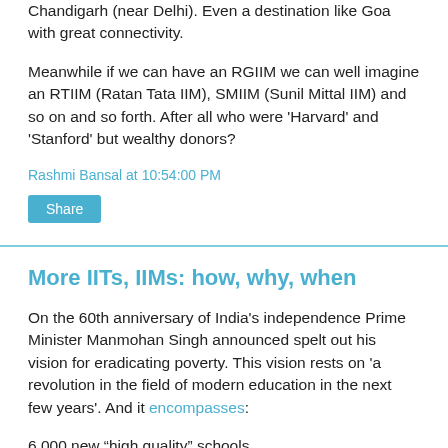Chandigarh (near Delhi). Even a destination like Goa with great connectivity.
Meanwhile if we can have an RGIIM we can well imagine an RTIIM (Ratan Tata IIM), SMIIM (Sunil Mittal IIM) and so on and so forth. After all who were 'Harvard' and 'Stanford' but wealthy donors?
Rashmi Bansal at 10:54:00 PM
Share
More IITs, IIMs: how, why, when
On the 60th anniversary of India's independence Prime Minister Manmohan Singh announced spelt out his vision for eradicating poverty. This vision rests on 'a revolution in the field of modern education in the next few years'. And it encompasses:
6,000 new “high quality” schools